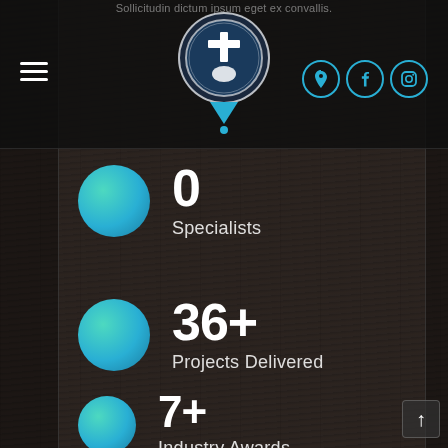Sollicitudin dictum ipsum eget ex convallis.
[Figure (logo): Mount Zion Anywhere logo — circular emblem with a cross and hand, above a teal map pin teardrop shape]
[Figure (infographic): Navigation hamburger menu icon (three horizontal white lines)]
[Figure (infographic): Social media icons: location pin, Facebook, Instagram in teal circular borders]
0
Specialists
36+
Projects Delivered
7+
Industry Awards